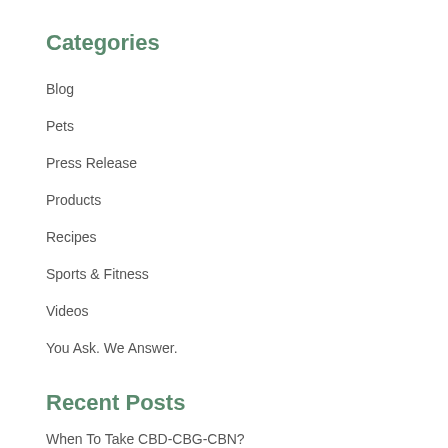Categories
Blog
Pets
Press Release
Products
Recipes
Sports & Fitness
Videos
You Ask. We Answer.
Recent Posts
When To Take CBD-CBG-CBN?
Avocado Toast with CBD & CBG